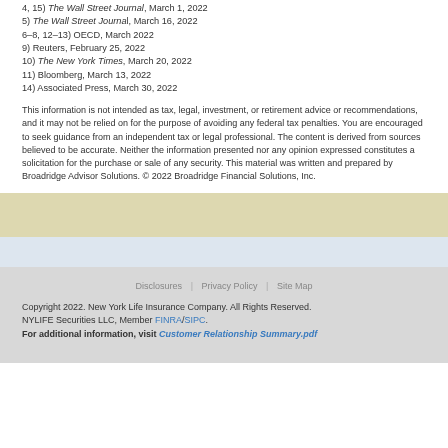4, 15) The Wall Street Journal, March 1, 2022
5) The Wall Street Journal, March 16, 2022
6–8, 12–13) OECD, March 2022
9) Reuters, February 25, 2022
10) The New York Times, March 20, 2022
11) Bloomberg, March 13, 2022
14) Associated Press, March 30, 2022
This information is not intended as tax, legal, investment, or retirement advice or recommendations, and it may not be relied on for the purpose of avoiding any federal tax penalties. You are encouraged to seek guidance from an independent tax or legal professional. The content is derived from sources believed to be accurate. Neither the information presented nor any opinion expressed constitutes a solicitation for the purchase or sale of any security. This material was written and prepared by Broadridge Advisor Solutions. © 2022 Broadridge Financial Solutions, Inc.
Disclosures | Privacy Policy | Site Map
Copyright 2022. New York Life Insurance Company. All Rights Reserved. NYLIFE Securities LLC, Member FINRA/SIPC.
For additional information, visit Customer Relationship Summary.pdf